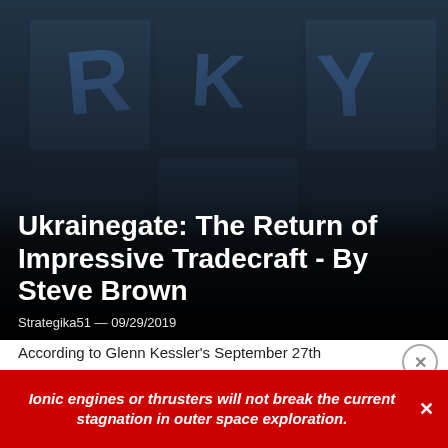[Figure (photo): Dark background photo of tiles with handwritten letters R, K, Y in blue ink, serving as a hero image for the article.]
Ukrainegate: The Return of Impressive Tradecraft - By Steve Brown
Strategika51 — 09/29/2019
According to Glenn Kessler's September 27th
Advertising
Ionic engines or thrusters will not break the current stagnation in outer space exploration.